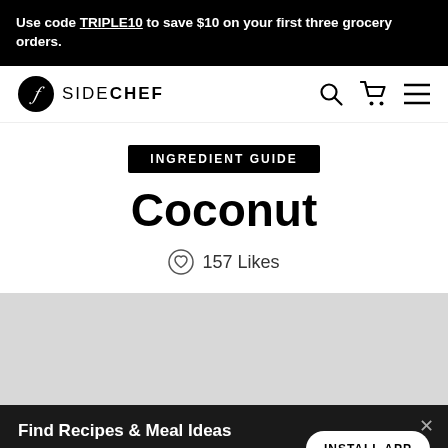Use code TRIPLE10 to save $10 on your first three grocery orders.
[Figure (logo): SideChef logo with circular icon and SIDECHEF wordmark, plus search, cart, and menu icons]
INGREDIENT GUIDE
Coconut
157 Likes
[Figure (photo): Gray placeholder image area for coconut photo]
Find Recipes & Meal Ideas
SideChef: 18k Recipes, Meal Planner, Grocery List, Personalization
INSTALL APP